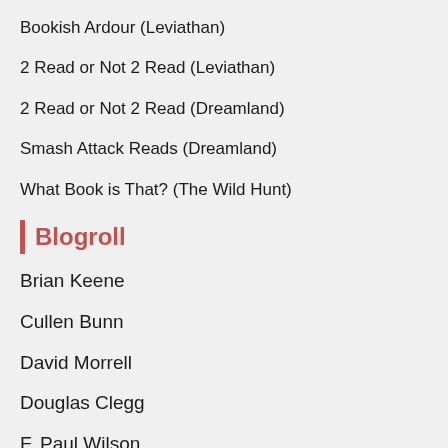Bookish Ardour (Leviathan)
2 Read or Not 2 Read (Leviathan)
2 Read or Not 2 Read (Dreamland)
Smash Attack Reads (Dreamland)
What Book is That? (The Wild Hunt)
Blogroll
Brian Keene
Cullen Bunn
David Morrell
Douglas Clegg
F. Paul Wilson
Feo Amante